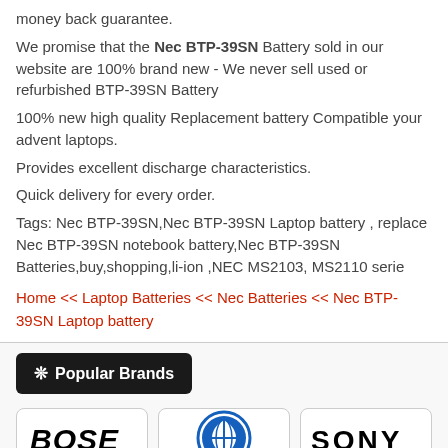money back guarantee.
We promise that the Nec BTP-39SN Battery sold in our website are 100% brand new - We never sell used or refurbished BTP-39SN Battery
100% new high quality Replacement battery Compatible your advent laptops.
Provides excellent discharge characteristics.
Quick delivery for every order.
Tags: Nec BTP-39SN,Nec BTP-39SN Laptop battery , replace Nec BTP-39SN notebook battery,Nec BTP-39SN Batteries,buy,shopping,li-ion ,NEC MS2103, MS2110 serie
Home << Laptop Batteries << Nec Batteries << Nec BTP-39SN Laptop battery
Popular Brands
[Figure (logo): Bose brand logo in italic black text]
[Figure (logo): Motorola brand logo — blue circle M symbol]
[Figure (logo): Sony brand logo in bold black text]